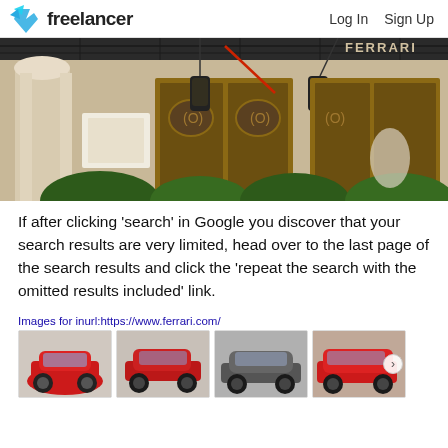freelancer  Log In  Sign Up
[Figure (photo): Exterior photo of a Ferrari store/showroom building with ornate architecture, hanging lanterns, and Ferrari branding visible in the upper right corner.]
If after clicking 'search' in Google you discover that your search results are very limited, head over to the last page of the search results and click the 'repeat the search with the omitted results included' link.
Images for inurl:https://www.ferrari.com/
[Figure (photo): Four thumbnail images of red and grey Ferrari cars arranged horizontally, with a navigation arrow on the right.]